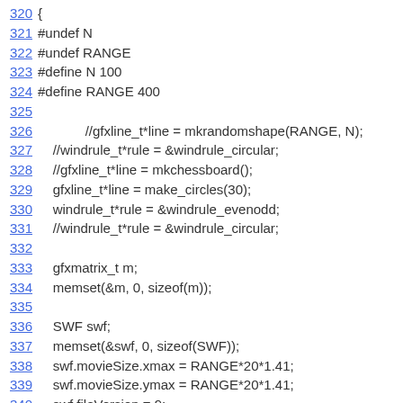320 {
321 #undef N
322 #undef RANGE
323 #define N 100
324 #define RANGE 400
325
326     //gfxline_t*line = mkrandomshape(RANGE, N);
327     //windrule_t*rule = &windrule_circular;
328     //gfxline_t*line = mkchessboard();
329     gfxline_t*line = make_circles(30);
330     windrule_t*rule = &windrule_evenodd;
331     //windrule_t*rule = &windrule_circular;
332
333     gfxmatrix_t m;
334     memset(&m, 0, sizeof(m));
335
336     SWF swf;
337     memset(&swf, 0, sizeof(SWF));
338     swf.movieSize.xmax = RANGE*20*1.41;
339     swf.movieSize.ymax = RANGE*20*1.41;
340     swf.fileVersion = 9;
341     swf.frameRate = 25*0x100;
342
TAG * tag = swf.firstTag = swf_InsertTag(0, ST_SETBACKGRO
343     swf_SetU8(tag, 0);
344     swf_SetU8(tag, 0);